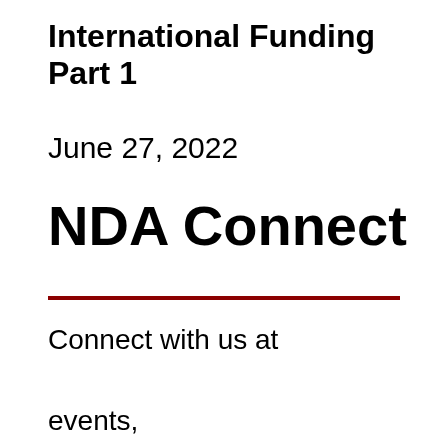International Funding Part 1
June 27, 2022
NDA Connect
Connect with us at events, conferences and